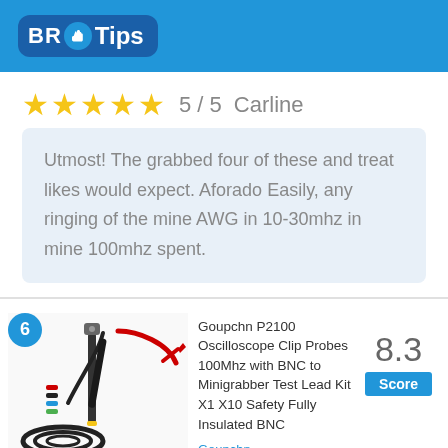BR Tips
★★★★★  5 / 5   Carline
Utmost! The grabbed four of these and treat likes would expect. Aforado Easily, any ringing of the mine AWG in 10-30mhz in mine 100mhz spent.
[Figure (photo): Product photo of Goupchn P2100 Oscilloscope Clip Probes with BNC cable and minigrabbers, showing red and black probe leads coiled]
Goupchn P2100 Oscilloscope Clip Probes 100Mhz with BNC to Minigrabber Test Lead Kit X1 X10 Safety Fully Insulated BNC
Goupchn
8.3 Score